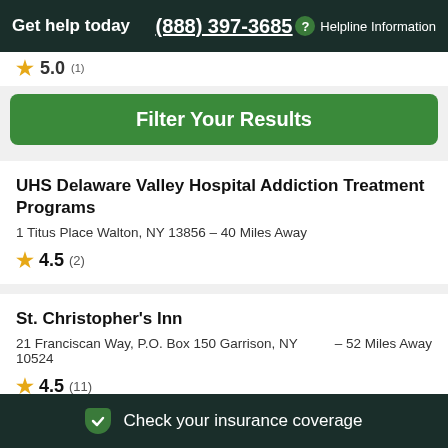Get help today  (888) 397-3685  ? Helpline Information
★ 5.0 (1)
Filter Your Results
UHS Delaware Valley Hospital Addiction Treatment Programs
1 Titus Place Walton, NY 13856 - 40 Miles Away
★ 4.5 (2)
St. Christopher's Inn
21 Franciscan Way, P.O. Box 150 Garrison, NY 10524  - 52 Miles Away
★ 4.5 (11)
Check your insurance coverage